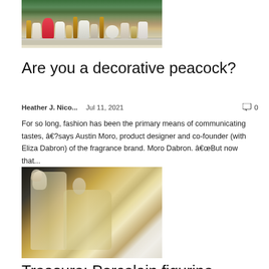[Figure (photo): Photo of a decorative shelf with flowers, vases, a white bunny figurine, candles and other decorative items against a green background]
Are you a decorative peacock?
Heather J. Nico...    Jul 11, 2021    💬 0
For so long, fashion has been the primary means of communicating tastes, â€?says Austin Moro, product designer and co-founder (with Eliza Dabron) of the fragrance brand. Moro Dabron. â€œBut now that...
[Figure (photo): Photo of a porcelain figurine of two figures in pale yellow/cream tones, appearing to be antique or vintage decorative statuary]
Treasure: Porcelain figurine...